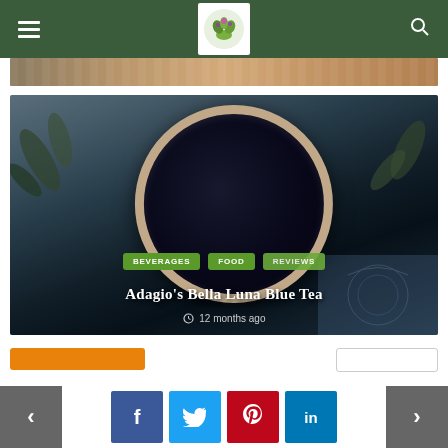Navigation bar with hamburger menu, logo, and search icon
[Figure (photo): Partial top image showing wicker/food items]
[Figure (photo): Tea blog card image showing a dark blue/black tea in a ceramic cup with saucer on blue-patterned tiles, surrounded by olive leaves, with category tags BEVERAGES, FOOD, REVIEWS and title Adagio's Bella Luna Blue Tea, 12 months ago]
Adagio’s Bella Luna Blue Tea
12 months ago
Navigation: previous, social share buttons (Facebook, Twitter, Pinterest, LinkedIn), next